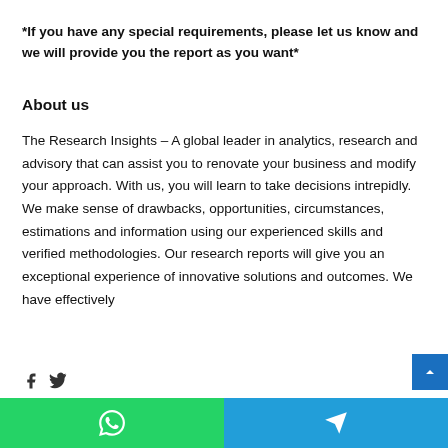*If you have any special requirements, please let us know and we will provide you the report as you want*
About us
The Research Insights – A global leader in analytics, research and advisory that can assist you to renovate your business and modify your approach. With us, you will learn to take decisions intrepidly. We make sense of drawbacks, opportunities, circumstances, estimations and information using our experienced skills and verified methodologies. Our research reports will give you an exceptional experience of innovative solutions and outcomes. We have effectively